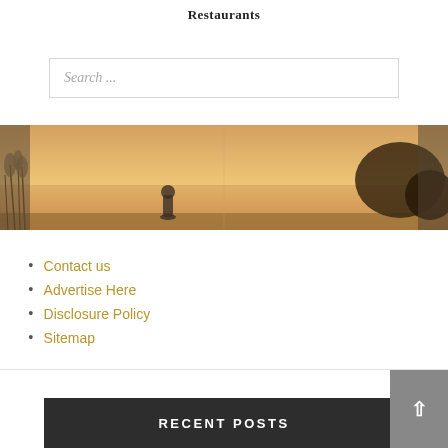Restaurants
Search ...
[Figure (photo): Sunset landscape photo with silhouette of person and bare trees against warm orange sky, with tall grasses in foreground]
Contact us
Advertise Here
Disclosure Policy
Sitemap
RECENT POSTS